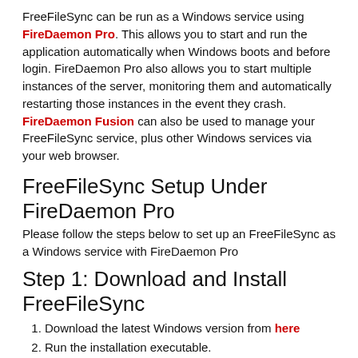FreeFileSync can be run as a Windows service using FireDaemon Pro. This allows you to start and run the application automatically when Windows boots and before login. FireDaemon Pro also allows you to start multiple instances of the server, monitoring them and automatically restarting those instances in the event they crash. FireDaemon Fusion can also be used to manage your FreeFileSync service, plus other Windows services via your web browser.
FreeFileSync Setup Under FireDaemon Pro
Please follow the steps below to set up an FreeFileSync as a Windows service with FireDaemon Pro
Step 1: Download and Install FreeFileSync
Download the latest Windows version from here
Run the installation executable.
By default the application installs to "C:\Program Files\FreeFileSync"
Run the application to configure the directories you want to sync. Once you're finished, select Save as Batch File from the File menu. Since this batch file will be running as a FireDaemon service, we recommend checking the "Run Minimised" box and selecting "Close progress dialog" from the On Completion dropdown. Once you've configured your settings, click Save As